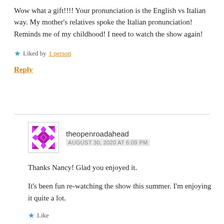Wow what a gift!!!! Your pronunciation is the English vs Italian way. My mother's relatives spoke the Italian pronunciation! Reminds me of my childhood! I need to watch the show again!
Liked by 1 person
Reply
theopenroadahead
AUGUST 30, 2020 AT 6:09 PM
Thanks Nancy! Glad you enjoyed it.
It's been fun re-watching the show this summer. I'm enjoying it quite a lot.
Like